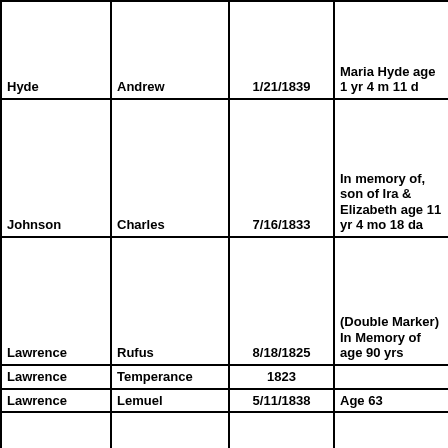| Last Name | First Name | Date | Notes |
| --- | --- | --- | --- |
| Hyde | Andrew | 1/21/1839 | Maria Hyde age 1 yr 4 m 11 d |
| Johnson | Charles | 7/16/1833 | In memory of, son of Ira & Elizabeth age 11 yr 4 mo 18 da |
| Lawrence | Rufus | 8/18/1825 | (Double Marker) In Memory of age 90 yrs |
| Lawrence | Temperance | 1823 |  |
| Lawrence | Lemuel | 5/11/1838 | Age 63 |
| Lawrence | Sarah | 1/11/1853 | Wife of Lemuel age 72 |
| Lawrence | Almond | 1823 | Son of Nathan |
|  |  |  | Dau of Daniel & Caroline |